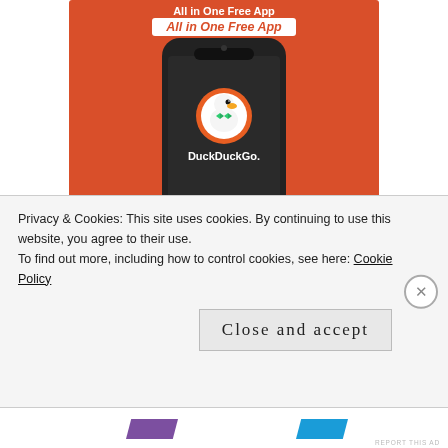[Figure (screenshot): DuckDuckGo app advertisement on orange background showing a phone mockup with DuckDuckGo logo and 'All in One Free App' text]
On the bottom half, I didn't like Roger, as well as he was playing prior to Isner, against Murray anyways. Murray is intent on representing his
Privacy & Cookies: This site uses cookies. By continuing to use this website, you agree to their use.
To find out more, including how to control cookies, see here: Cookie Policy
Close and accept